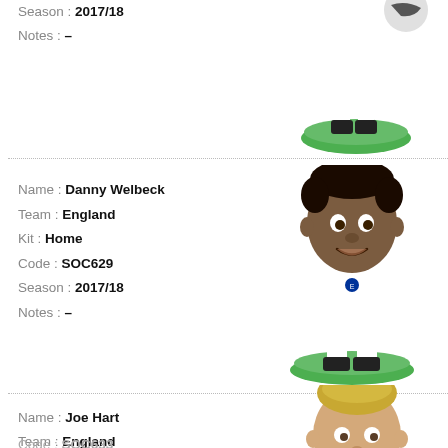Season : 2017/18
Notes : –
[Figure (illustration): Figurine of a football player (partially visible at top)]
Name : Danny Welbeck
Team : England
Kit : Home
Code : SOC629
Season : 2017/18
Notes : –
[Figure (illustration): Figurine of Danny Welbeck in England white home kit on green base]
Name : Joe Hart
Team : England
Kit : Home
Code : SOC633
[Figure (illustration): Figurine of Joe Hart with blonde hair, England goalkeeper kit, partially visible]